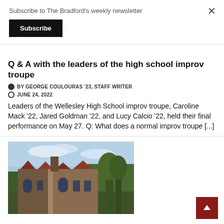Subscribe to The Bradford's weekly newsletter
Subscribe
Q & A with the leaders of the high school improv troupe
BY GEORGE COULOURAS '23, STAFF WRITER
JUNE 24, 2022
Leaders of the Wellesley High School improv troupe, Caroline Mack '22, Jared Goldman '22, and Lucy Calcio '22, held their final performance on May 27. Q: What does a normal improv troupe [...]
[Figure (photo): Exterior photo of a historic stone school building with a red/brown roofline and trees in the background under a partly cloudy sky.]